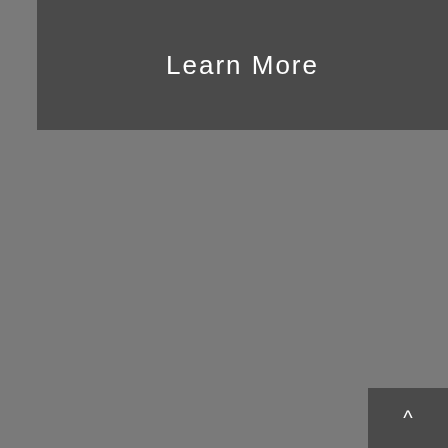Learn More
[Figure (illustration): Repeating pattern of sports pictograms (cyclist, kayaker, jump rope) on a grey background, with a dark banner at top showing 'Learn More' and a scroll-up button at bottom right.]